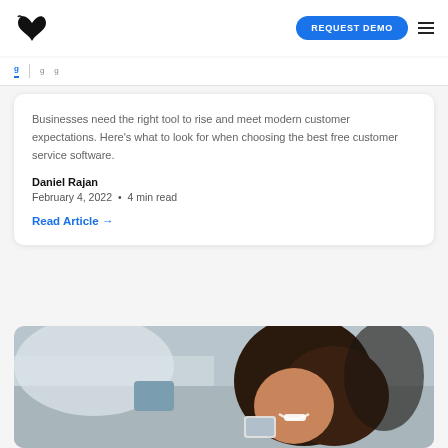REQUEST DEMO
Businesses need the right tool to rise and meet modern customer expectations. Here's what to look for when choosing the best free customer service software.
Daniel Rajan
February 4, 2022 • 4 min read
Read Article →
[Figure (photo): Woman smiling while looking at her smartphone, sitting on a couch]